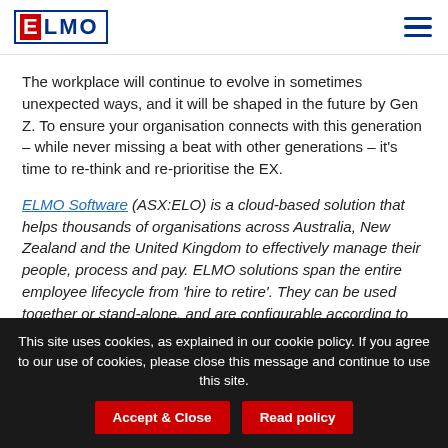[Figure (logo): ELMO logo with red E and blue LMO letters inside a blue border rectangle]
The workplace will continue to evolve in sometimes unexpected ways, and it will be shaped in the future by Gen Z. To ensure your organisation connects with this generation – while never missing a beat with other generations – it's time to re-think and re-prioritise the EX.
ELMO Software (ASX:ELO) is a cloud-based solution that helps thousands of organisations across Australia, New Zealand and the United Kingdom to effectively manage their people, process and pay. ELMO solutions span the entire employee lifecycle from 'hire to retire'. They can be used together or stand-alone, and are configurable according to
This site uses cookies, as explained in our cookie policy. If you agree to our use of cookies, please close this message and continue to use this site.